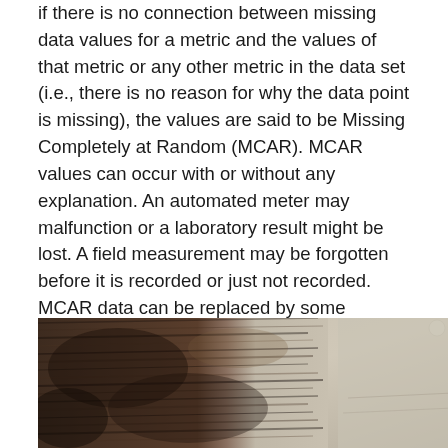if there is no connection between missing data values for a metric and the values of that metric or any other metric in the data set (i.e., there is no reason for why the data point is missing), the values are said to be Missing Completely at Random (MCAR). MCAR values can occur with or without any explanation. An automated meter may malfunction or a laboratory result might be lost. A field measurement may be forgotten before it is recorded or just not recorded. MCAR data can be replaced by some appropriate value (there are several approaches for doing this), but they are usually ignored. In this case, either the metric or the observation has to be removed from the analysis.
[Figure (photo): Photograph showing an animal with brown/dark fur (appears to be a bear or similar mammal) partially visible, with a lighter background visible on the right side. Image is cropped at the bottom of the page.]